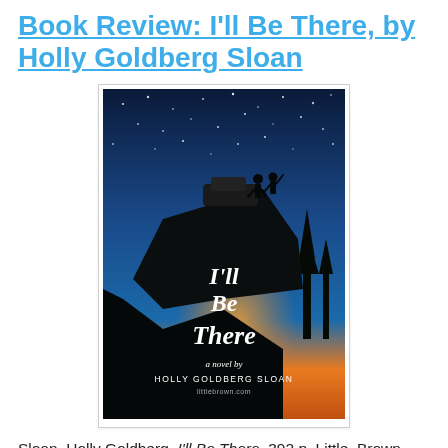Book Review: I'll Be There, by Holly Goldberg Sloan
[Figure (photo): Book cover of 'I'll Be There' by Holly Goldberg Sloan, showing a dramatic night scene with two silhouetted figures on a cliff edge under a starry blue sky with an orange sunset glow, with the title and author name displayed on the cover.]
Sloan, Holly Goldberg. I'll Be There. 392 p. Little, Brown. 2011. Hardcover $17.99. ISBN 9780316122795.
Everyone's been raving about this book all year, and let me tell you-- it lives up to the hype!
Two brothers, Sam and Riddle, have been dragged around the country by their abusive, mentally ill father for most of their lives. Then Sam meets a girl while at church...